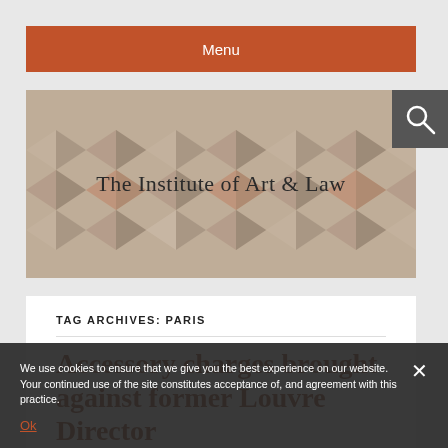Menu
[Figure (illustration): The Institute of Art & Law website header banner with geometric checkered marble floor pattern in terracotta, grey and white tones as background]
TAG ARCHIVES: PARIS
Accessory charges brought against former Louvre Director
We use cookies to ensure that we give you the best experience on our website. Your continued use of the site constitutes acceptance of, and agreement with this practice.
Ok